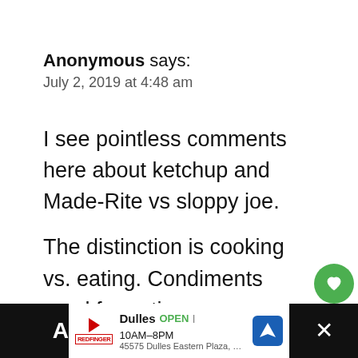Anonymous says:
July 2, 2019 at 4:48 am
I see pointless comments here about ketchup and Made-Rite vs sloppy joe.

The distinction is cooking vs. eating. Condiments used for eating are secondary to what happens to the meat depending on how it's cooked.
[Figure (infographic): Like/heart button (green circle with white heart icon), count of 116, and share button below]
[Figure (infographic): WHAT'S NEXT arrow banner with thumbnail image for No-Churn Blueberry Ic...]
Dulles OPEN 10AM-8PM 45575 Dulles Eastern Plaza, Suite 171, D